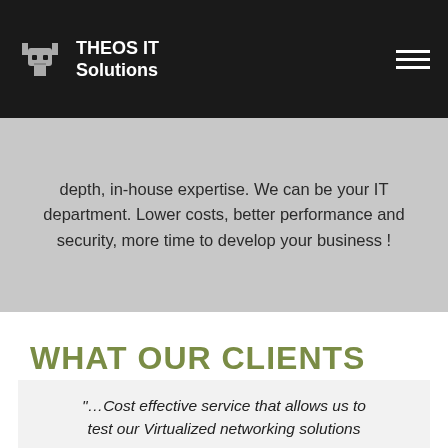THEOS IT Solutions
depth, in-house expertise. We can be your IT department. Lower costs, better performance and security, more time to develop your business !
WHAT OUR CLIENTS SAY
"…Cost effective service that allows us to test our Virtualized networking solutions